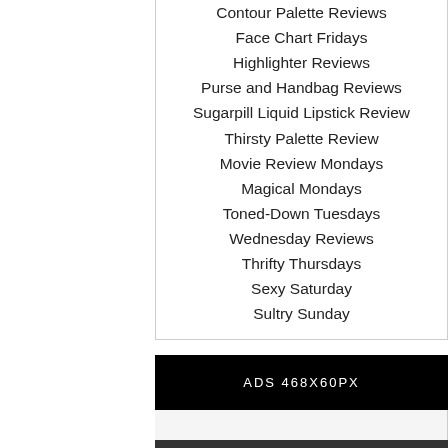Contour Palette Reviews
Face Chart Fridays
Highlighter Reviews
Purse and Handbag Reviews
Sugarpill Liquid Lipstick Review
Thirsty Palette Review
Movie Review Mondays
Magical Mondays
Toned-Down Tuesdays
Wednesday Reviews
Thrifty Thursdays
Sexy Saturday
Sultry Sunday
ADS 468X60PX